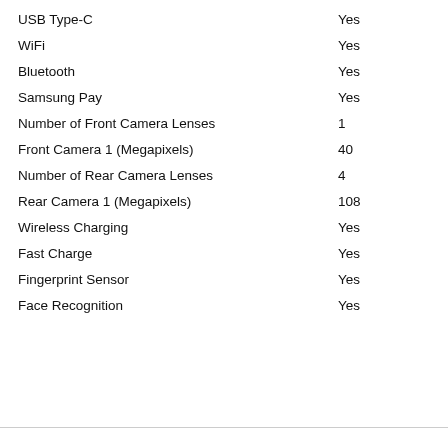| Feature | Value |
| --- | --- |
| USB Type-C | Yes |
| WiFi | Yes |
| Bluetooth | Yes |
| Samsung Pay | Yes |
| Number of Front Camera Lenses | 1 |
| Front Camera 1 (Megapixels) | 40 |
| Number of Rear Camera Lenses | 4 |
| Rear Camera 1 (Megapixels) | 108 |
| Wireless Charging | Yes |
| Fast Charge | Yes |
| Fingerprint Sensor | Yes |
| Face Recognition | Yes |